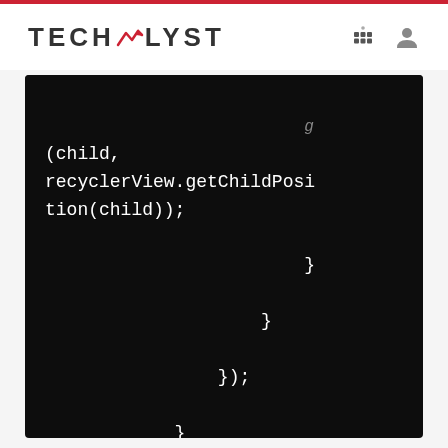TECHALYST
[Figure (screenshot): Code snippet on dark background showing Java/Android code with (child, recyclerView.getChildPosition(child)); followed by closing braces }  }  }); } and then @Override annotation and public boolean keyword]